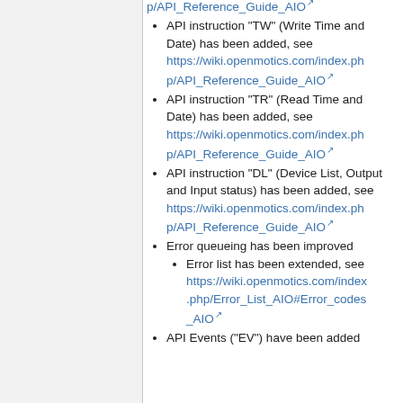API instruction "TW" (Write Time and Date) has been added, see https://wiki.openmotics.com/index.php/API_Reference_Guide_AIO
API instruction "TR" (Read Time and Date) has been added, see https://wiki.openmotics.com/index.php/API_Reference_Guide_AIO
API instruction "DL" (Device List, Output and Input status) has been added, see https://wiki.openmotics.com/index.php/API_Reference_Guide_AIO
Error queueing has been improved
Error list has been extended, see https://wiki.openmotics.com/index.php/Error_List_AIO#Error_codes_AIO
API Events ("EV") have been added